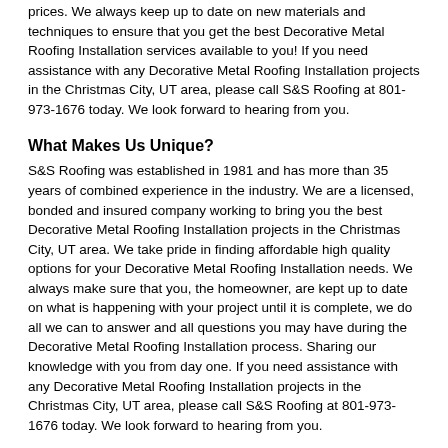prices. We always keep up to date on new materials and techniques to ensure that you get the best Decorative Metal Roofing Installation services available to you! If you need assistance with any Decorative Metal Roofing Installation projects in the Christmas City, UT area, please call S&S Roofing at 801-973-1676 today. We look forward to hearing from you.
What Makes Us Unique?
S&S Roofing was established in 1981 and has more than 35 years of combined experience in the industry. We are a licensed, bonded and insured company working to bring you the best Decorative Metal Roofing Installation projects in the Christmas City, UT area. We take pride in finding affordable high quality options for your Decorative Metal Roofing Installation needs. We always make sure that you, the homeowner, are kept up to date on what is happening with your project until it is complete, we do all we can to answer and all questions you may have during the Decorative Metal Roofing Installation process. Sharing our knowledge with you from day one. If you need assistance with any Decorative Metal Roofing Installation projects in the Christmas City, UT area, please call S&S Roofing at 801-973-1676 today. We look forward to hearing from you.
Services
- Asphalt Shingle Roofing - Install or Replace
- Asphalt Shingle Roofing - Repair
- Brick or Stone Pavers - Install or Replace
- Built-Up Roofing
- Carport (Metal) - Build